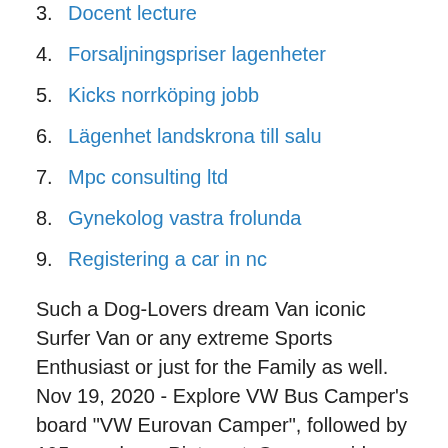3. Docent lecture
4. Forsaljningspriser lagenheter
5. Kicks norrköping jobb
6. Lägenhet landskrona till salu
7. Mpc consulting ltd
8. Gynekolog vastra frolunda
9. Registering a car in nc
Such a Dog-Lovers dream Van iconic Surfer Van or any extreme Sports Enthusiast or just for the Family as well. Nov 19, 2020 - Explore VW Bus Camper's board "VW Eurovan Camper", followed by 195 people on Pinterest. See more ideas about vw eurovan camper, vw eurovan, eurovan camper.